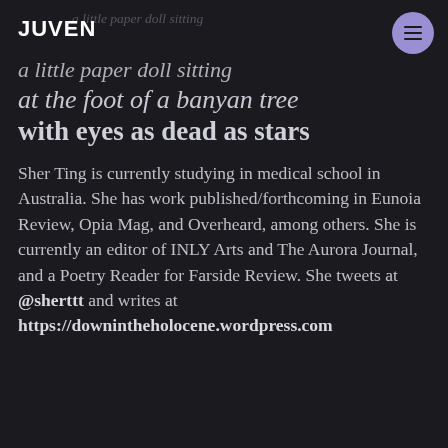JUVEN
a little paper doll sitting
at the foot of a banyan tree
with eyes as dead as stars
Sher Ting is currently studying in medical school in Australia. She has work published/forthcoming in Eunoia Review, Opia Mag, and Overheard, among others. She is currently an editor of INLY Arts and The Aurora Journal, and a Poetry Reader for Farside Review. She tweets at @sherttt and writes at https://downintheholocene.wordpress.com